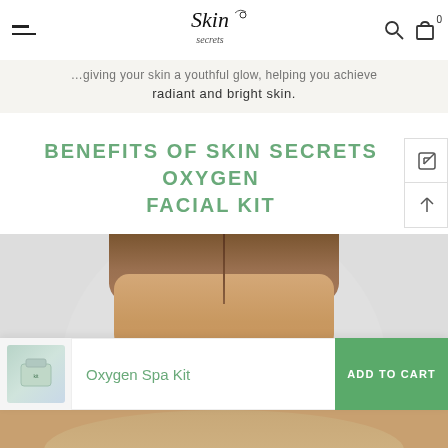Skin Secrets — navigation header with hamburger menu, logo, search and cart icons
radiant and bright skin.
BENEFITS OF SKIN SECRETS OXYGEN FACIAL KIT
[Figure (photo): Photo of a woman's face showing skin transformation, hair parted in the middle, and a before/after comparison of acne vs clear skin below]
Oxygen Spa Kit
ADD TO CART